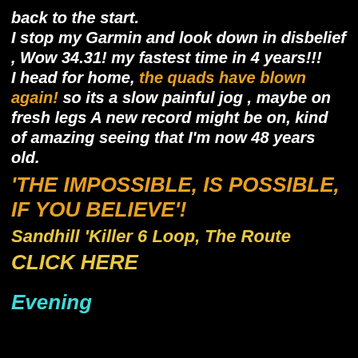back to the start. I stop my Garmin and look down in disbelief , Wow 34.31! my fastest time in 4 years!!! I head for home, the quads have blown again! so its a slow painful jog , maybe on fresh legs A new record might be on, kind of amazing seeing that I'm now 48 years old.
'THE IMPOSSIBLE, IS POSSIBLE, IF YOU BELIEVE'!
Sandhill 'Killer 6 Loop, The Route
CLICK HERE
Evening